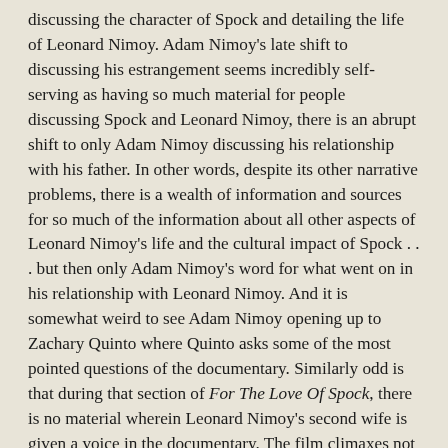discussing the character of Spock and detailing the life of Leonard Nimoy. Adam Nimoy's late shift to discussing his estrangement seems incredibly self-serving as having so much material for people discussing Spock and Leonard Nimoy, there is an abrupt shift to only Adam Nimoy discussing his relationship with his father. In other words, despite its other narrative problems, there is a wealth of information and sources for so much of the information about all other aspects of Leonard Nimoy's life and the cultural impact of Spock . . . but then only Adam Nimoy's word for what went on in his relationship with Leonard Nimoy. And it is somewhat weird to see Adam Nimoy opening up to Zachary Quinto where Quinto asks some of the most pointed questions of the documentary. Similarly odd is that during that section of For The Love Of Spock, there is no material wherein Leonard Nimoy's second wife is given a voice in the documentary. The film climaxes not with any sort of tribute to Leonard Nimoy at any number of the Star Trek conventions that were done following his death . . . but rather with a Burning Man tribute from 2015 to Nimoy?!
So much of For The Love Of Spock is similarly sloppy or